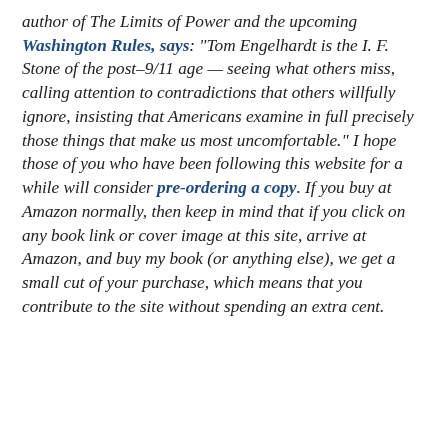author of The Limits of Power and the upcoming Washington Rules, says: "Tom Engelhardt is the I. F. Stone of the post–9/11 age — seeing what others miss, calling attention to contradictions that others willfully ignore, insisting that Americans examine in full precisely those things that make us most uncomfortable." I hope those of you who have been following this website for a while will consider pre-ordering a copy.  If you buy at Amazon normally, then keep in mind that if you click on any book link or cover image at this site, arrive at Amazon, and buy my book (or anything else), we get a small cut of your purchase, which means that you contribute to the site without spending an extra cent.